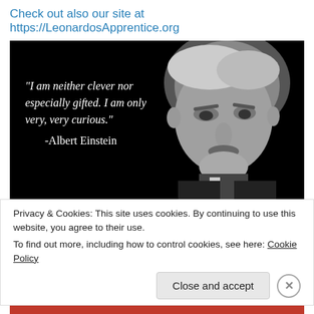Check out also our site at https://LeonardosApprentice.org
[Figure (photo): Black and white portrait photo of Albert Einstein with a quote overlay: '"I am neither clever nor especially gifted. I am only very, very curious." -Albert Einstein']
Privacy & Cookies: This site uses cookies. By continuing to use this website, you agree to their use.
To find out more, including how to control cookies, see here: Cookie Policy